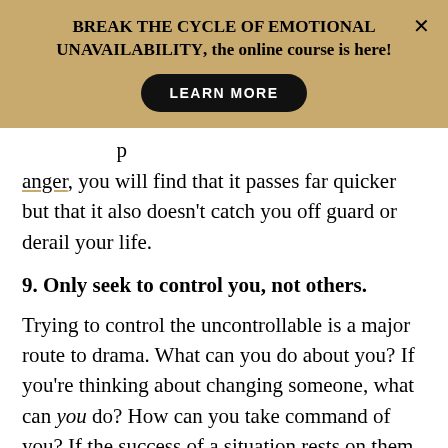BREAK THE CYCLE OF EMOTIONAL UNAVAILABILITY, the online course is here!
anger, you will find that it passes far quicker but that it also doesn't catch you off guard or derail your life.
9. Only seek to control you, not others.
Trying to control the uncontrollable is a major route to drama. What can you do about you? If you're thinking about changing someone, what can you do? How can you take command of you? If the success of a situation rests on them